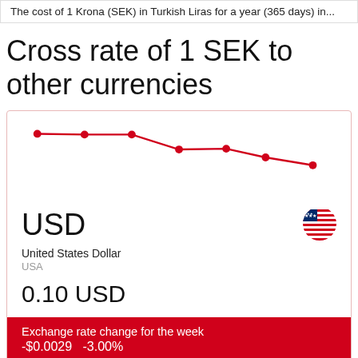The cost of 1 Krona (SEK) in Turkish Liras for a year (365 days) in...
Cross rate of 1 SEK to other currencies
[Figure (line-chart): Line chart showing SEK to USD exchange rate trend over time, declining from ~0.103 to ~0.100]
USD
United States Dollar
USA
0.10 USD
Exchange rate change for the week
-$0.0029   -3.00%
[Figure (line-chart): Partial line chart visible at bottom of page]